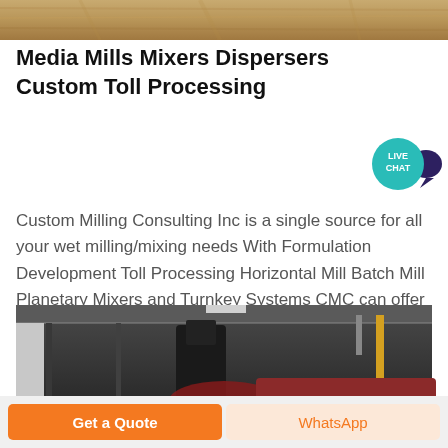[Figure (photo): Top banner photo of sandy/granular material texture]
Media Mills Mixers Dispersers Custom Toll Processing
[Figure (other): Live Chat speech bubble badge in teal/dark blue]
Custom Milling Consulting Inc is a single source for all your wet milling/mixing needs With Formulation Development Toll Processing Horizontal Mill Batch Mill Planetary Mixers and Turnkey Systems CMC can offer the right solution Call us today at 610 926 0984
[Figure (photo): Interior photo of industrial milling/mixing equipment in a warehouse/factory building]
Get Price
Get a Quote
WhatsApp